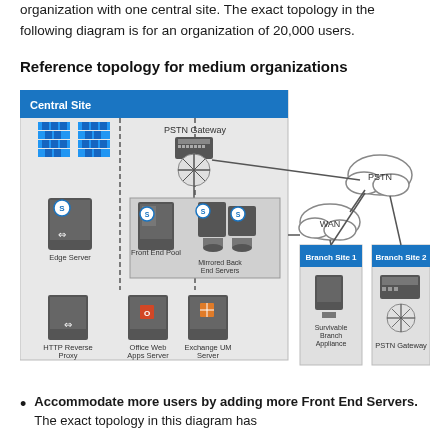organization with one central site. The exact topology in the following diagram is for an organization of 20,000 users.
Reference topology for medium organizations
[Figure (network-graph): Network topology diagram for a medium organization showing a Central Site with Edge Server, Front End Pool, Mirrored Back End Servers, HTTP Reverse Proxy, Office Web Apps Server, Exchange UM Server, and PSTN Gateway connected via WAN and PSTN to Branch Site 1 (with Survivable Branch Appliance) and Branch Site 2 (with PSTN Gateway).]
Accommodate more users by adding more Front End Servers. The exact topology in this diagram has